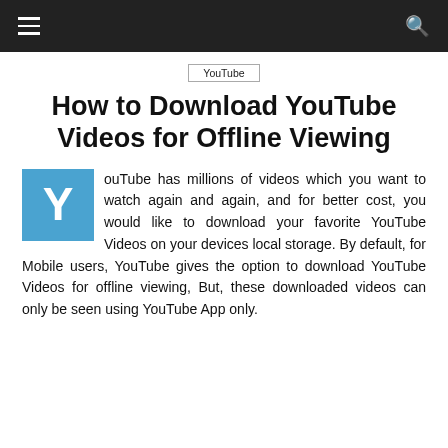≡  🔍
YouTube
How to Download YouTube Videos for Offline Viewing
YouTube has millions of videos which you want to watch again and again, and for better cost, you would like to download your favorite YouTube Videos on your devices local storage. By default, for Mobile users, YouTube gives the option to download YouTube Videos for offline viewing, But, these downloaded videos can only be seen using YouTube App only.